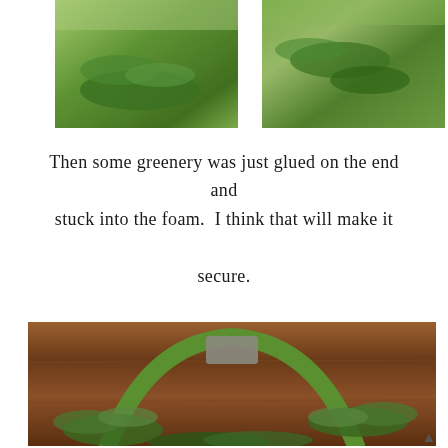[Figure (photo): Two photos side by side at top: left shows greenery on green surface, right shows green leaves and plant material on wooden surface]
Then some greenery was just glued on the end and stuck into the foam.  I think that will make it secure.
[Figure (photo): A green wreath/hose form decorated with various greenery and ferns laid on a wooden table surface, with a gray fabric piece at the top of the arch]